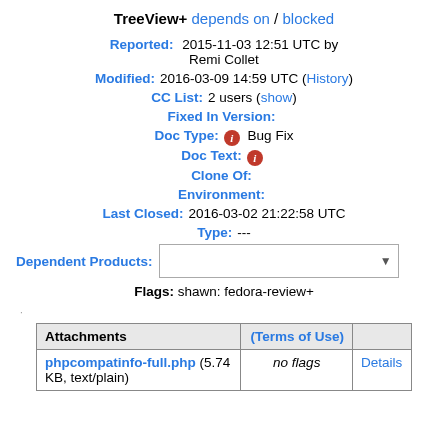TreeView+ depends on / blocked
Reported: 2015-11-03 12:51 UTC by Remi Collet
Modified: 2016-03-09 14:59 UTC (History)
CC List: 2 users (show)
Fixed In Version:
Doc Type: [info] Bug Fix
Doc Text: [info]
Clone Of:
Environment:
Last Closed: 2016-03-02 21:22:58 UTC
Type: ---
Dependent Products:
Flags: shawn: fedora-review+
| Attachments | (Terms of Use) |  |  |
| --- | --- | --- | --- |
| phpcompatinfo-full.php (5.74 KB, text/plain) | no flags | Details |